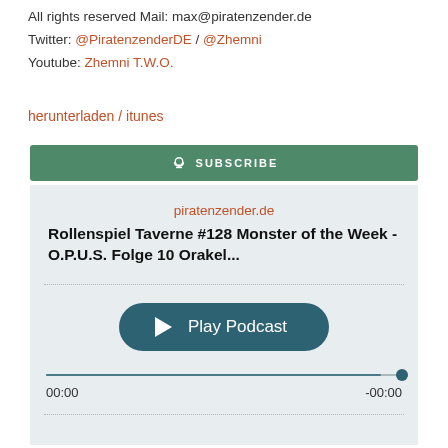All rights reserved Mail: max@piratenzender.de
Twitter: @PiratenzenderDE / @Zhemni
Youtube: Zhemni T.W.O.
herunterladen / itunes
[Figure (screenshot): Green subscribe button with podcast icon and text SUBSCRIBE]
[Figure (screenshot): Podcast player widget showing piratenzender.de, episode title 'Rollenspiel Taverne #128 Monster of the Week - O.P.U.S. Folge 10 Orakel...', Play Podcast button, progress bar at end showing 00:00 / -00:00]